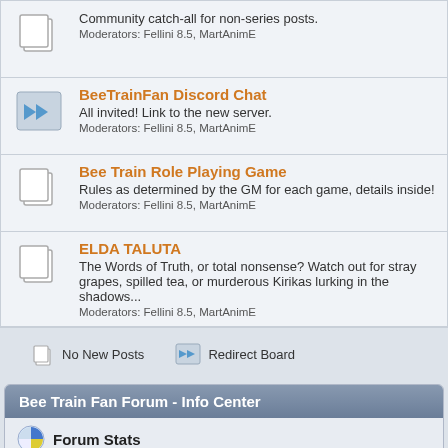Community catch-all for non-series posts. Moderators: Fellini 8.5, MartAnimE
BeeTrainFan Discord Chat
All invited! Link to the new server.
Moderators: Fellini 8.5, MartAnimE
Bee Train Role Playing Game
Rules as determined by the GM for each game, details inside!
Moderators: Fellini 8.5, MartAnimE
ELDA TALUTA
The Words of Truth, or total nonsense? Watch out for stray grapes, spilled tea, or murderous Kirikas lurking in the shadows...
Moderators: Fellini 8.5, MartAnimE
No New Posts    Redirect Board
Bee Train Fan Forum - Info Center
Forum Stats
89847 Posts in 1661 Topics by 154 Members. Latest Member: Cosminog
Latest Post: "The Green Faeries" ( Yesterday at 01:40:15 PM )
View the most recent posts on the forum.
[More Stats]